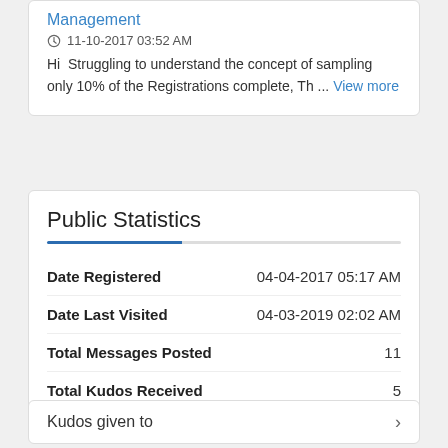Management
11-10-2017 03:52 AM
Hi  Struggling to understand the concept of sampling only 10% of the Registrations complete, Th ... View more
Public Statistics
|  |  |
| --- | --- |
| Date Registered | 04-04-2017 05:17 AM |
| Date Last Visited | 04-03-2019 02:02 AM |
| Total Messages Posted | 11 |
| Total Kudos Received | 5 |
Kudos given to